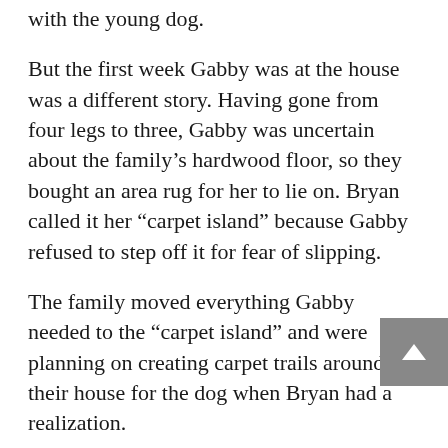with the young dog.
But the first week Gabby was at the house was a different story. Having gone from four legs to three, Gabby was uncertain about the family’s hardwood floor, so they bought an area rug for her to lie on. Bryan called it her “carpet island” because Gabby refused to step off it for fear of slipping.
The family moved everything Gabby needed to the “carpet island” and were planning on creating carpet trails around their house for the dog when Bryan had a realization.
“I realized that it’s absolutely a confidence thing,” Bryan said. “She can walk on the floor perfectly as long as she knows she can.”
The family figured this out by throwing a tennis ball.